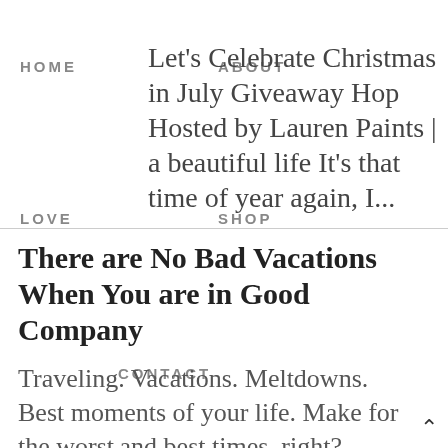HOME   ABOUT   LOVE   SHOP   CONTACT
Let's Celebrate Christmas in July Giveaway Hop Hosted by Lauren Paints | a beautiful life It's that time of year again, I...
There are No Bad Vacations When You are in Good Company
Traveling. Vacations. Meltdowns. Best moments of your life. Make for the worst and best times, right? AMEN One our honeymoon, we